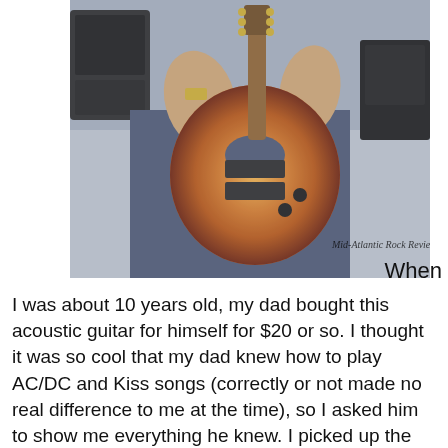[Figure (photo): A person holding a sunburst Les Paul style electric guitar, with amplifier visible in background. Watermark reads 'Mid-Atlantic Rock Reviews'.]
When I was about 10 years old, my dad bought this acoustic guitar for himself for $20 or so. I thought it was so cool that my dad knew how to play AC/DC and Kiss songs (correctly or not made no real difference to me at the time), so I asked him to show me everything he knew. I picked up the basic chords pretty quickly and started sneaking into his room while he was at work to play the guitar unsupervised. One day he came home earlier than usual and heard me in my room playing the guitar. He was too shocked at how quickly I surpassed his skill level to scold me, and he said I could keep the guitar. Around the same time, two of my cousins were getting into guitar and I HAD to get as good as they were, so I put in as